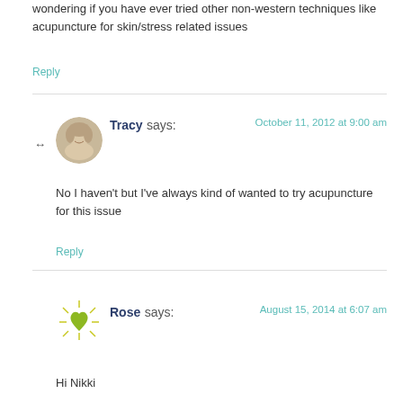wondering if you have ever tried other non-western techniques like acupuncture for skin/stress related issues
Reply
Tracy says: October 11, 2012 at 9:00 am
No I haven't but I've always kind of wanted to try acupuncture for this issue
Reply
Rose says: August 15, 2014 at 6:07 am
Hi Nikki